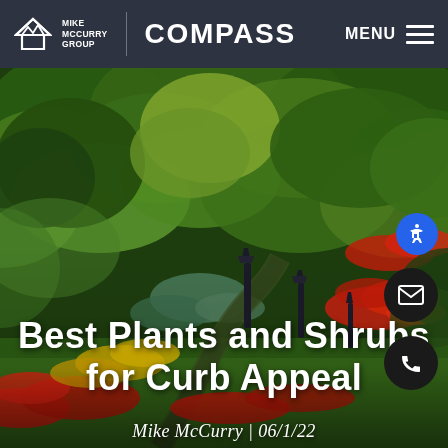Mike McCurry Group | COMPASS | MENU
[Figure (photo): Lush garden landscape with diverse green trees and shrubs, colorful red and yellow flowers, winding path with dark decorative lamp posts, and vivid red tulips in the foreground. Dense canopy of green trees fills the upper portion.]
Best Plants and Shrubs for Curb Appeal
Mike McCurry | 06/1/22